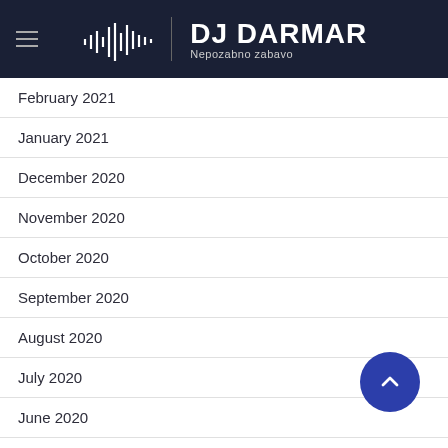DJ DARMAR — Nepozabno zabavo
February 2021
January 2021
December 2020
November 2020
October 2020
September 2020
August 2020
July 2020
June 2020
May 2020
April 2020
March 2020
February 2020